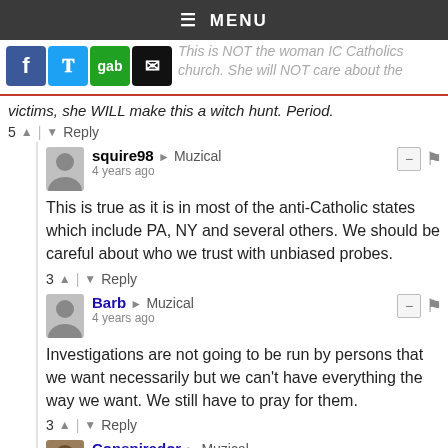☰ MENU
[Figure (screenshot): Social media share icons: Facebook (blue), Twitter (blue bird), Gab (green), Email (black envelope)]
This is NOT the woman IC Catholics church. She will NOT care about the victims, she WILL make this a witch hunt. Period.
5 ↑ | ↓ Reply
squire98 → Muzical
4 years ago
This is true as it is in most of the anti-Catholic states which include PA, NY and several others. We should be careful about who we trust with unbiased probes.
3 ↑ | ↓ Reply
Barb → Muzical
4 years ago
Investigations are not going to be run by persons that we want necessarily but we can't have everything the way we want. We still have to pray for them.
3 ↑ | ↓ Reply
Conspirador → Muzical
[Figure (other): Donate button (blue rounded rectangle)]